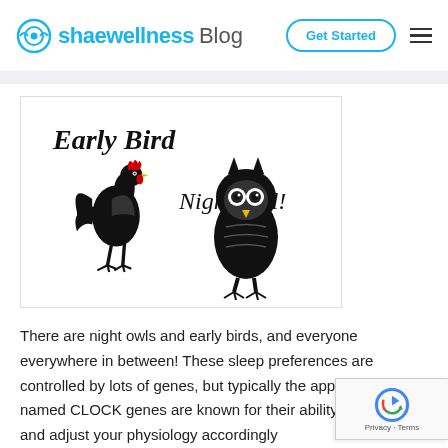shaewellness Blog | Get Started
[Figure (illustration): Black and white illustration showing a rooster (Early Bird) on the left and an owl (Night Owl) on the right with decorative text labels]
There are night owls and early birds, and everyone everywhere in between! These sleep preferences are controlled by lots of genes, but typically the appropriately named CLOCK genes are known for their ability to tell time, and adjust your physiology accordingly